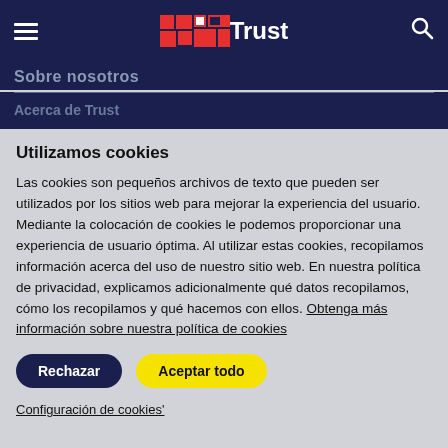Trust — navigation bar with hamburger menu, Trust logo, and search icon
Sobre nosotros
Acerca de Trust
Utilizamos cookies
Las cookies son pequeños archivos de texto que pueden ser utilizados por los sitios web para mejorar la experiencia del usuario. Mediante la colocación de cookies le podemos proporcionar una experiencia de usuario óptima. Al utilizar estas cookies, recopilamos información acerca del uso de nuestro sitio web. En nuestra política de privacidad, explicamos adicionalmente qué datos recopilamos, cómo los recopilamos y qué hacemos con ellos. Obtenga más información sobre nuestra política de cookies
Rechazar
Aceptar todo
Configuración de cookies'